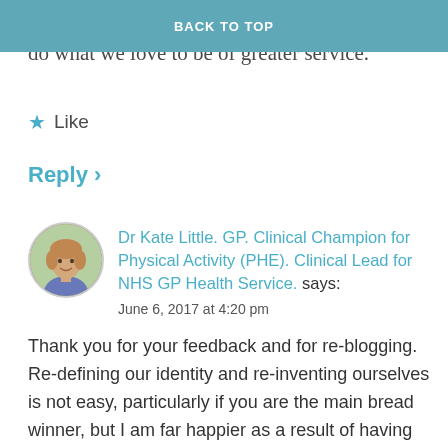BACK TO TOP
sustainable. We have our talents and do what we love to be of greater service.
★ Like
Reply ›
Dr Kate Little. GP. Clinical Champion for Physical Activity (PHE). Clinical Lead for NHS GP Health Service. says:
June 6, 2017 at 4:20 pm
Thank you for your feedback and for re-blogging. Re-defining our identity and re-inventing ourselves is not easy, particularly if you are the main bread winner, but I am far happier as a result of having made some changes (as are my family!). And like you mention, this feels more sustainable. Thank you!